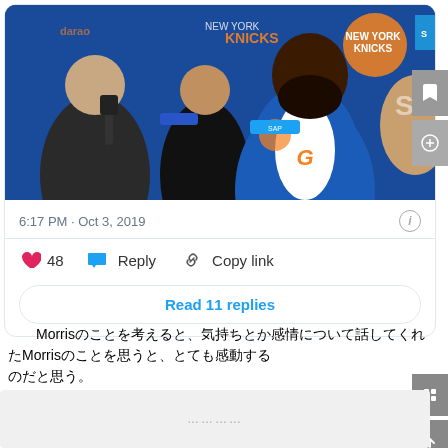[Figure (photo): A New York Knicks basketball player in blue and orange jersey being interviewed by multiple reporters with microphones, against a blue Knicks branded backdrop. Several journalists surround the player.]
6:17 PM · Oct 3, 2019
❤ 48  💬 Reply  🔗 Copy link
Read 11 replies
Morrisのことを考えると、気持ちとか感情について話してくれたMorrisのことを思うと、とても感動する　　　　　
のだと思う。